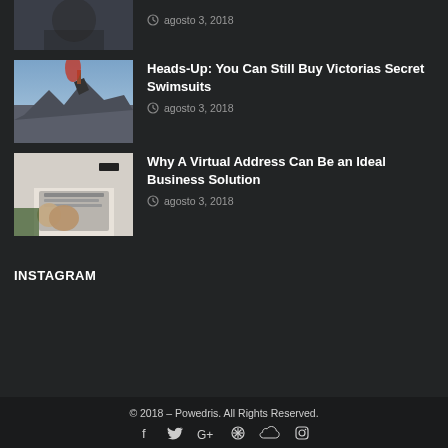[Figure (photo): Partial view of a woman with headphones (cropped from top)]
agosto 3, 2018
[Figure (photo): Person standing on a rocky mountain summit with cloudy sky]
Heads-Up: You Can Still Buy Victorias Secret Swimsuits
agosto 3, 2018
[Figure (photo): Hands with tattoos typing on a laptop keyboard]
Why A Virtual Address Can Be an Ideal Business Solution
agosto 3, 2018
INSTAGRAM
© 2018 – Powedris. All Rights Reserved.